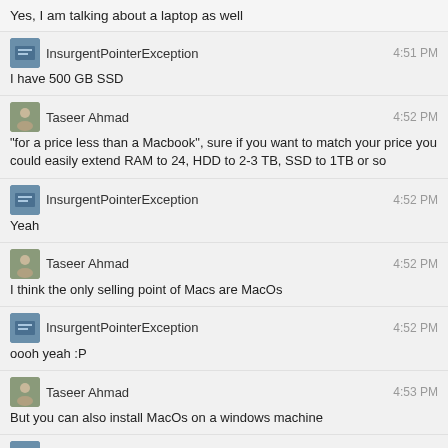Yes, I am talking about a laptop as well
InsurgentPointerException  4:51 PM
I have 500 GB SSD
Taseer Ahmad  4:52 PM
"for a price less than a Macbook", sure if you want to match your price you could easily extend RAM to 24, HDD to 2-3 TB, SSD to 1TB or so
InsurgentPointerException  4:52 PM
Yeah
Taseer Ahmad  4:52 PM
I think the only selling point of Macs are MacOs
InsurgentPointerException  4:52 PM
oooh yeah :P
Taseer Ahmad  4:53 PM
But you can also install MacOs on a windows machine
InsurgentPointerException  4:53 PM
I sense a "but"
Taseer Ahmad  4:53 PM
One of my friend installed it
Mehdi B.  4:53 PM